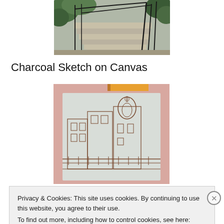[Figure (photo): Outdoor stone staircase with black metal railings and green foliage in background]
Charcoal Sketch on Canvas
[Figure (photo): A charcoal sketch on canvas showing a city scene with buildings and a domed church, canvas propped against a pink surface with orange tape at top]
Privacy & Cookies: This site uses cookies. By continuing to use this website, you agree to their use.
To find out more, including how to control cookies, see here: Cookie Policy